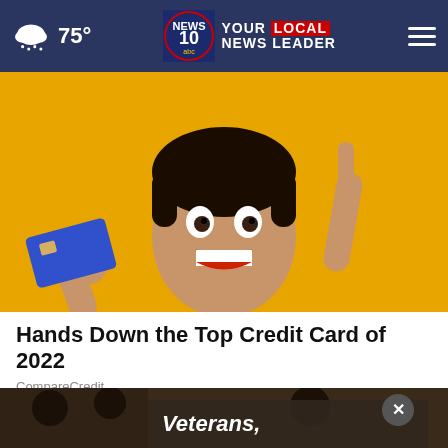75° | NEWS 10 abc YOUR LOCAL NEWS LEADER
[Figure (photo): Young man with surprised expression holding a blue credit card and pointing one finger up, against a yellow background]
Hands Down the Top Credit Card of 2022
CompareCredit
[Figure (photo): Dark image of people at what appears to be a gathering or event, with a video overlay showing text 'Veterans,' and a close button (X) in the upper right]